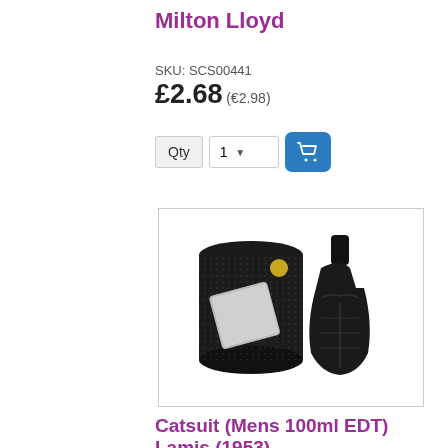Milton Lloyd
SKU: SCS00441
£2.68 (€2.98)
[Figure (screenshot): Quantity selector with dropdown showing '1' and a blue shopping cart button]
[Figure (photo): Product photo showing a black cylindrical box and a black torso-shaped perfume bottle (Catsuit Mens 100ml EDT Lamis 1953)]
Catsuit (Mens 100ml EDT) Lamis (1953)
SKU: SCS00514
£3.95 (€4.40)